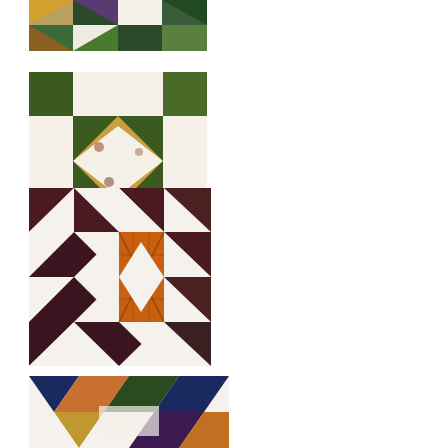[Figure (photo): Quilt block photo showing a patchwork pattern with dark green, blue, red, and cream fabric pieces arranged in a geometric block pattern. Partial image, cropped at top.]
[Figure (photo): Quilt block photo showing a square-in-a-square pattern with dark green/brown floral fabric and white/cream backgrounds forming a medallion-style block.]
[Figure (photo): Quilt block photo showing a Bear Paw or similar pattern with dark brown/maroon triangles on white background and an orange lattice-patterned center square.]
[Figure (photo): Quilt block photo showing a star pattern with blue, multicolor floral and dark fabric pieces. Partially cropped at bottom.]